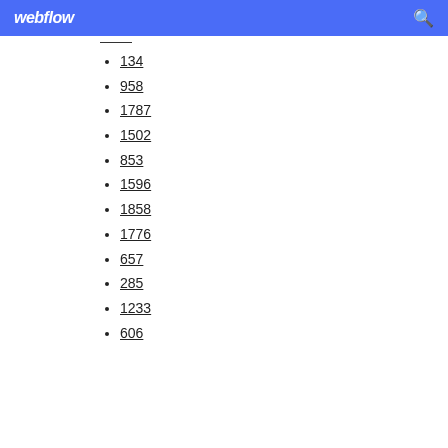webflow
134
958
1787
1502
853
1596
1858
1776
657
285
1233
606